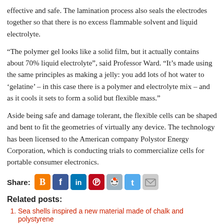effective and safe. The lamination process also seals the electrodes together so that there is no excess flammable solvent and liquid electrolyte.
“The polymer gel looks like a solid film, but it actually contains about 70% liquid electrolyte”, said Professor Ward. “It’s made using the same principles as making a jelly: you add lots of hot water to ‘gelatine’ – in this case there is a polymer and electrolyte mix – and as it cools it sets to form a solid but flexible mass.”
Aside being safe and damage tolerant, the flexible cells can be shaped and bent to fit the geometries of virtually any device. The technology has been licensed to the American company Polystor Energy Corporation, which is conducting trials to commercialize cells for portable consumer electronics.
[Figure (other): Share icons row: Blogger, Facebook, LinkedIn, Pinterest, Reddit, Twitter, Email]
Related posts:
Sea shells inspired a new material made of chalk and polystyrene
New polymer enables cheaper plastic solar cells and electronics